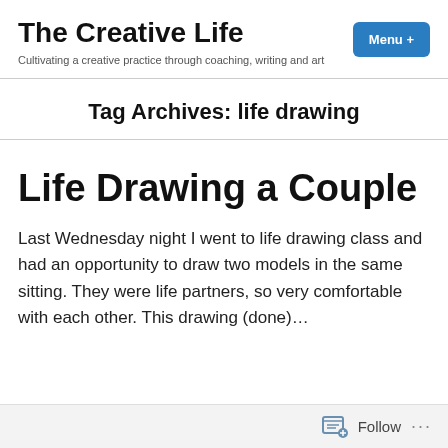The Creative Life
Cultivating a creative practice through coaching, writing and art
Tag Archives: life drawing
Life Drawing a Couple
Last Wednesday night I went to life drawing class and had an opportunity to draw two models in the same sitting. They were life partners, so very comfortable with each other. This drawing (done)…
Follow ...